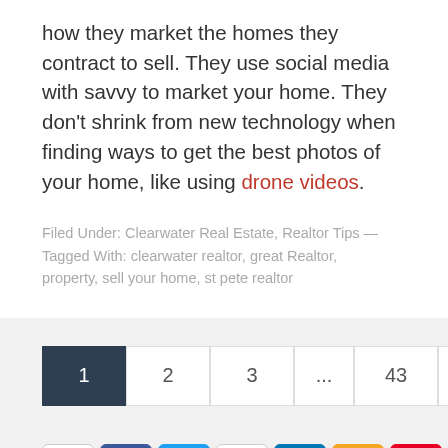how they market the homes they contract to sell. They use social media with savvy to market your home. They don't shrink from new technology when finding ways to get the best photos of your home, like using drone videos.
Filed Under: Clearwater Real Estate, Realtor Tips — Tagged With: clearwater realtor, great Realtor, property, sell your home, st pete realtor
1  2  3  ...  43  Next Page »
[Figure (other): Row of social media icons: YouTube, Facebook, Twitter, Google+, LinkedIn, RSS, Pinterest]